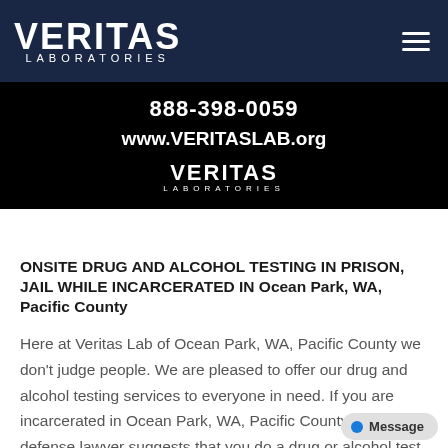VERITAS LABORATORIES
[Figure (logo): Black banner with phone number 888-398-0059, website www.VERITASLAB.org, and Veritas Laboratories logo on black background]
ONSITE DRUG AND ALCOHOL TESTING IN PRISON, JAIL WHILE INCARCERATED IN Ocean Park, WA, Pacific County
Here at Veritas Lab of Ocean Park, WA, Pacific County we don't judge people. We are pleased to offer our drug and alcohol testing services to everyone in need. If you are incarcerated in Ocean Park, WA, Pacific County and your defense lawyer suggests that you do a drug or alcohol test, we can send a certified drug and alcohol collector to